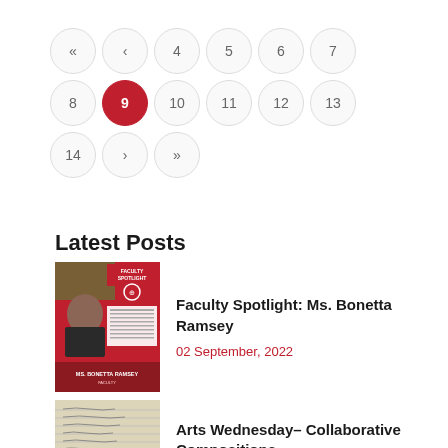« < 4 5 6 7 8 9 10 11 12 13 14 > »  (pagination, page 9 active)
Latest Posts
[Figure (photo): Faculty Spotlight thumbnail – red background with photo of Ms. Bonetta Ramsey]
Faculty Spotlight: Ms. Bonetta Ramsey
02 September, 2022
[Figure (photo): Arts Wednesday thumbnail – handwritten compositions on paper]
Arts Wednesday– Collaborative Compositions